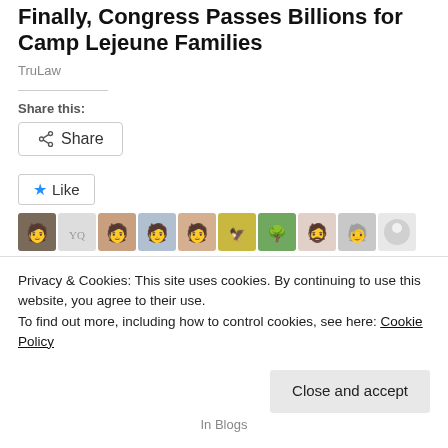Finally, Congress Passes Billions for Camp Lejeune Families
TruLaw
Share this:
Share
Like
150 bloggers like this.
Related
Privacy & Cookies: This site uses cookies. By continuing to use this website, you agree to their use.
To find out more, including how to control cookies, see here: Cookie Policy
Close and accept
In Blogs